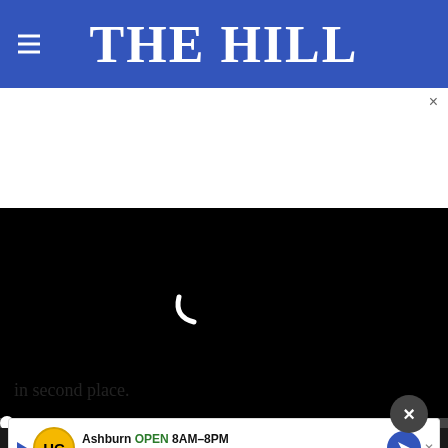THE HILL
[Figure (screenshot): Embedded video player showing a black loading screen with a white spinner arc, video controls bar at bottom including play button, mute button, time (00:00), captions button, and fullscreen button, and a progress bar above controls.]
in second place.
A mor... the GOP firm F... ion committee (PAC) supporting Vance, found Vance
[Figure (screenshot): Ad overlay showing Ashburn business ad: HC logo, 'Ashburn OPEN 8AM-8PM 44110 Ashburn Shopping Plaza 190,' with navigation arrow icon.]